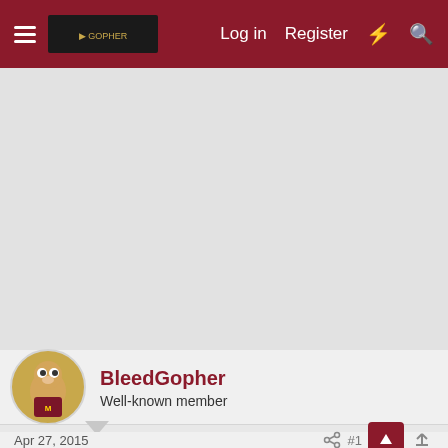Log in  Register
[Figure (screenshot): Gray content area placeholder]
BleedGopher
Well-known member
Apr 27, 2015